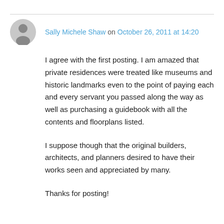Sally Michele Shaw on October 26, 2011 at 14:20
I agree with the first posting. I am amazed that private residences were treated like museums and historic landmarks even to the point of paying each and every servant you passed along the way as well as purchasing a guidebook with all the contents and floorplans listed.

I suppose though that the original builders, architects, and planners desired to have their works seen and appreciated by many.

Thanks for posting!